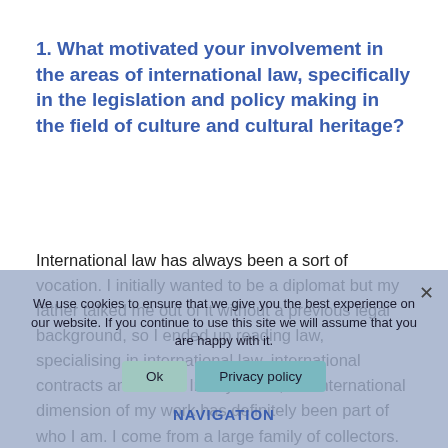1. What motivated your involvement in the areas of international law, specifically in the legislation and policy making in the field of culture and cultural heritage?
International law has always been a sort of vocation. I initially wanted to be a diplomat but my father talked me out of it without a previous legal background, so I ended up reading law, specialising in international law, international contracts and so on. In any event, the international dimension of my work has definitely been part of who I am. I come from a large family of collectors. My grandfather was a collector and later one of the largest